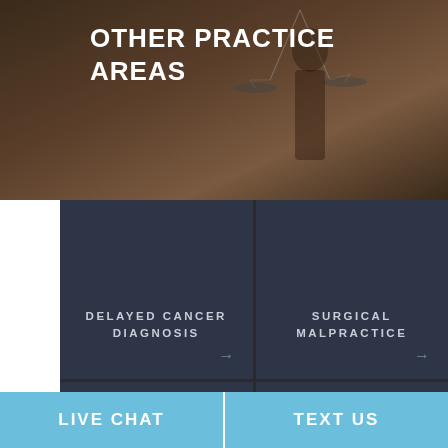[Figure (photo): Background image of Lady Justice scales, dark brownish-gray tones, with the title overlay 'OTHER PRACTICE AREAS']
OTHER PRACTICE AREAS
DELAYED CANCER DIAGNOSIS
SURGICAL MALPRACTICE
WRONGFUL DEATH
PERSONAL INJURY
LIVE CHAT
TEXT US